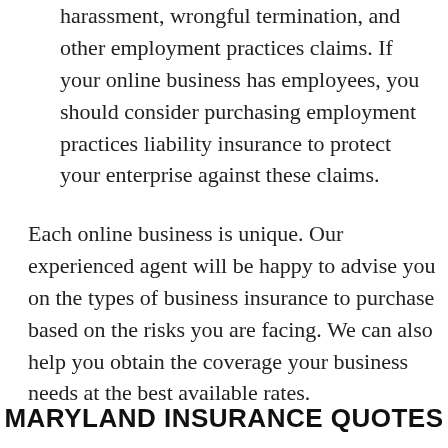harassment, wrongful termination, and other employment practices claims. If your online business has employees, you should consider purchasing employment practices liability insurance to protect your enterprise against these claims.
Each online business is unique. Our experienced agent will be happy to advise you on the types of business insurance to purchase based on the risks you are facing. We can also help you obtain the coverage your business needs at the best available rates.
MARYLAND INSURANCE QUOTES